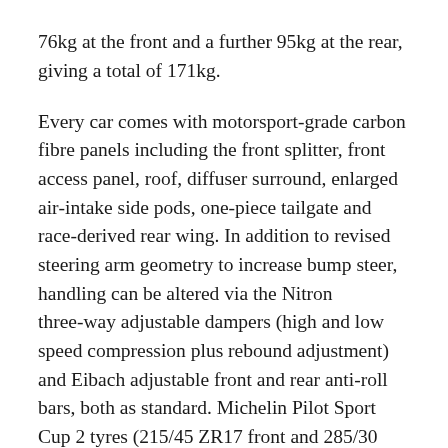76kg at the front and a further 95kg at the rear, giving a total of 171kg.
Every car comes with motorsport-grade carbon fibre panels including the front splitter, front access panel, roof, diffuser surround, enlarged air-intake side pods, one-piece tailgate and race-derived rear wing. In addition to revised steering arm geometry to increase bump steer, handling can be altered via the Nitron three-way adjustable dampers (high and low speed compression plus rebound adjustment) and Eibach adjustable front and rear anti-roll bars, both as standard. Michelin Pilot Sport Cup 2 tyres (215/45 ZR17 front and 285/30 ZR18 rear) are fitted to ultra-lightweight 10 spoke diamond cut lightweight forged alloy wheels